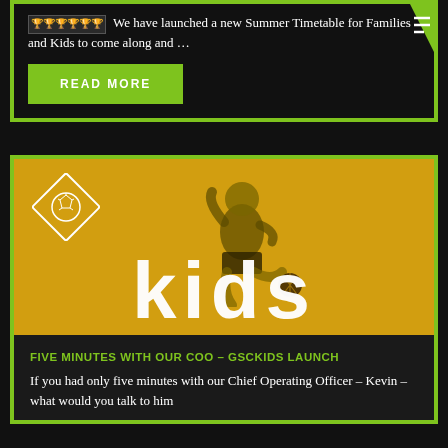🏆🏆🏆🏆🏆🏆 We have launched a new Summer Timetable for Families and Kids to come along and …
READ MORE
[Figure (photo): Yellow-tinted photo of a boy kicking a football, overlaid with large white text 'kids' and a diamond-shaped football logo in the top left corner.]
FIVE MINUTES WITH OUR COO – GSCKIDS LAUNCH
If you had only five minutes with our Chief Operating Officer – Kevin – what would you talk to him